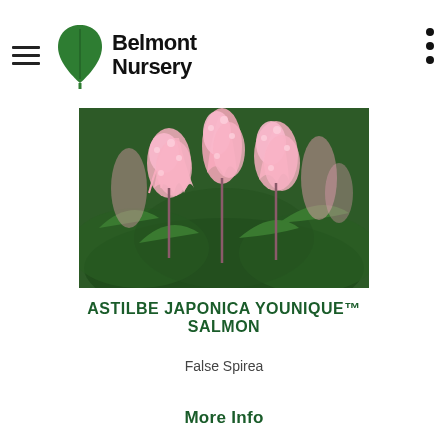Belmont Nursery
[Figure (photo): Close-up photograph of Astilbe japonica Younique Salmon plant with tall feathery pink flower plumes against dark green foliage background]
ASTILBE JAPONICA YOUNIQUE™ SALMON
False Spirea
More Info